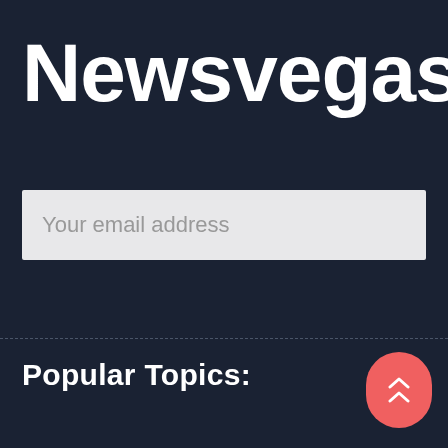Newsvegasrepo
Your email address
Popular Topics:
[Figure (other): Red rounded scroll-to-top button with double chevron up arrows]